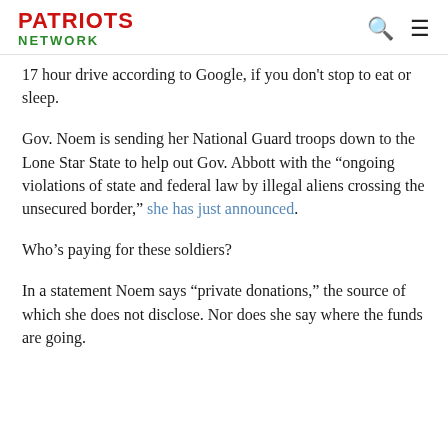PATRIOTS NETWORK
17 hour drive according to Google, if you don't stop to eat or sleep.
Gov. Noem is sending her National Guard troops down to the Lone Star State to help out Gov. Abbott with the “ongoing violations of state and federal law by illegal aliens crossing the unsecured border,” she has just announced.
Who’s paying for these soldiers?
In a statement Noem says “private donations,” the source of which she does not disclose. Nor does she say where the funds are going.